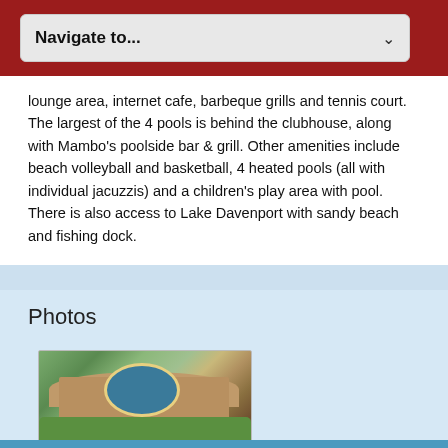Navigate to...
lounge area, internet cafe, barbeque grills and tennis court. The largest of the 4 pools is behind the clubhouse, along with Mambo's poolside bar & grill. Other amenities include beach volleyball and basketball, 4 heated pools (all with individual jacuzzis) and a children's play area with pool. There is also access to Lake Davenport with sandy beach and fishing dock.
Photos
[Figure (photo): Entrance sign for Bahama Bay Resort, a brick monument sign with colorful circular logo, surrounded by green landscaping and shrubs]